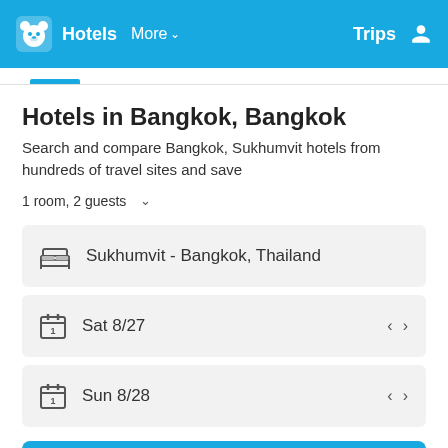Hotels  More  Trips
Hotels in Bangkok, Bangkok
Search and compare Bangkok, Sukhumvit hotels from hundreds of travel sites and save
1 room, 2 guests
Sukhumvit - Bangkok, Thailand
Sat 8/27
Sun 8/28
Search